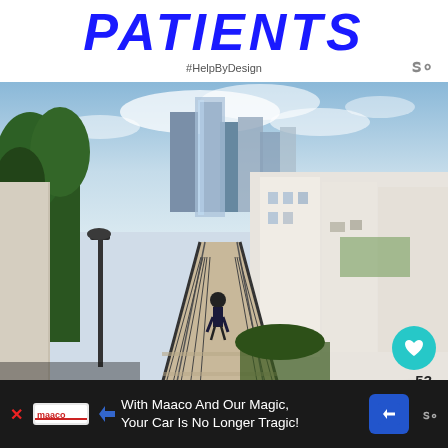PATIENTS
#HelpByDesign
[Figure (photo): Urban walkway/bridge with a person walking, surrounded by white residential buildings and city skyscrapers in background, lush green trees on the left side, viewed from a wide-angle perspective.]
WHAT'S NEXT → Best Things to Do In Xian:...
There's a wide array of interesting tra...
With Maaco And Our Magic, Your Car Is No Longer Tragic!